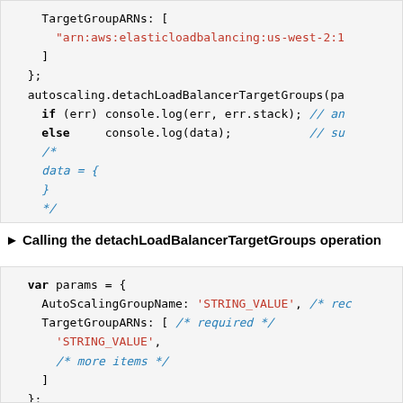[Figure (screenshot): Code block showing end of a detachLoadBalancerTargetGroups callback with TargetGroupARNs array, closing brackets, and comment block showing data = {}]
► Calling the detachLoadBalancerTargetGroups operation
[Figure (screenshot): Code block showing var params object with AutoScalingGroupName STRING_VALUE, TargetGroupARNs array with STRING_VALUE and more items comment, then autoscaling.detachLoadBalancerTargetGroups call and if err console.log]